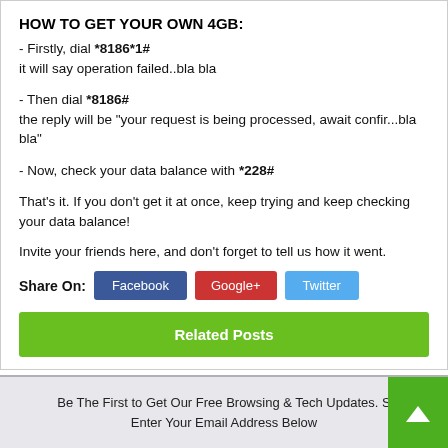HOW TO GET YOUR OWN 4GB:
- Firstly, dial *8186*1#
it will say operation failed..bla bla
- Then dial *8186#
the reply will be "your request is being processed, await confir...bla bla"
- Now, check your data balance with *228#
That's it. If you don't get it at once, keep trying and keep checking your data balance!
Invite your friends here, and don't forget to tell us how it went.
Share On: Facebook  Google+  Twitter
Related Posts
Be The First to Get Our Free Browsing & Tech Updates. S...
Enter Your Email Address Below